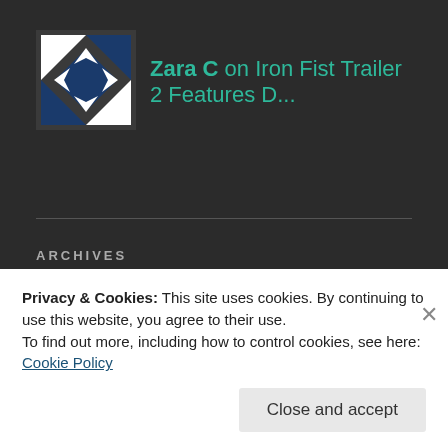[Figure (logo): Quilt-style logo icon in dark blue and white geometric pattern]
Zara C on Iron Fist Trailer 2 Features D...
ARCHIVES
Select Month (dropdown)
SEPPINREK
Privacy & Cookies: This site uses cookies. By continuing to use this website, you agree to their use.
To find out more, including how to control cookies, see here: Cookie Policy
Close and accept